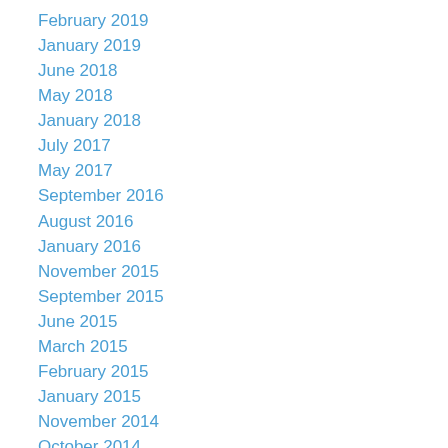February 2019
January 2019
June 2018
May 2018
January 2018
July 2017
May 2017
September 2016
August 2016
January 2016
November 2015
September 2015
June 2015
March 2015
February 2015
January 2015
November 2014
October 2014
September 2014
August 2014